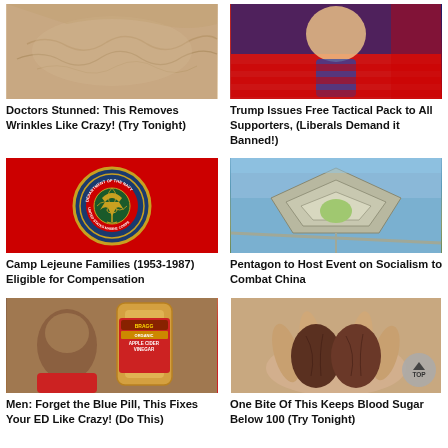[Figure (photo): Close-up of skin with wrinkles]
Doctors Stunned: This Removes Wrinkles Like Crazy! (Try Tonight)
[Figure (photo): Person in front of American flag]
Trump Issues Free Tactical Pack to All Supporters, (Liberals Demand it Banned!)
[Figure (photo): United States Marine Corps emblem on red background]
Camp Lejeune Families (1953-1987) Eligible for Compensation
[Figure (photo): Aerial view of the Pentagon building]
Pentagon to Host Event on Socialism to Combat China
[Figure (photo): Man holding Bragg Organic Apple Cider Vinegar bottle]
Men: Forget the Blue Pill, This Fixes Your ED Like Crazy! (Do This)
[Figure (photo): Hand holding two dark brown dates or figs]
One Bite Of This Keeps Blood Sugar Below 100 (Try Tonight)